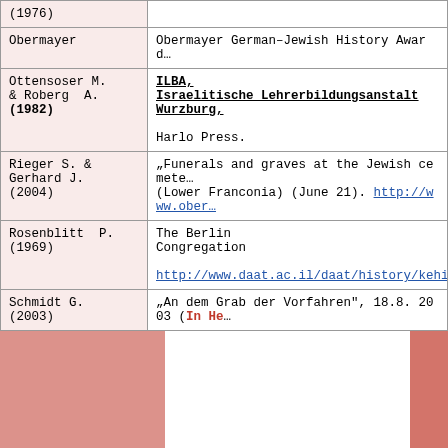| Author | Reference |
| --- | --- |
| (1976) |  |
| Obermayer | Obermayer German-Jewish History Award… |
| Ottensoser M.
& Roberg A.
(1982) | ILBA,
Israelitische Lehrerbildungsanstalt Wurzburg,

Harlo Press. |
| Rieger S. &
Gerhard J.
(2004) | "Funerals and graves at the Jewish cemetery…
(Lower Franconia) (June 21). http://www.ober… |
| Rosenblitt P.
(1969) | The Berlin
Congregation

http://www.daat.ac.il/daat/history/kehilot/… |
| Schmidt G.
(2003) | "An dem Grab der Vorfahren", 18.8. 2003 (In He… |